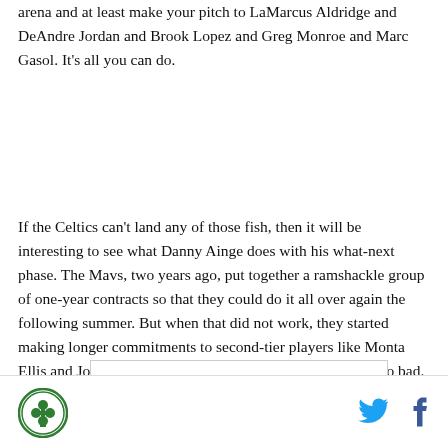arena and at least make your pitch to LaMarcus Aldridge and DeAndre Jordan and Brook Lopez and Greg Monroe and Marc Gasol. It's all you can do.
If the Celtics can't land any of those fish, then it will be interesting to see what Danny Ainge does with his what-next phase. The Mavs, two years ago, put together a ramshackle group of one-year contracts so that they could do it all over again the following summer. But when that did not work, they started making longer commitments to second-tier players like Monta Ellis and Jose Calderon. It got them to 49 wins. That's not so bad.
[Figure (logo): Celtics logo - green circular emblem with shamrock]